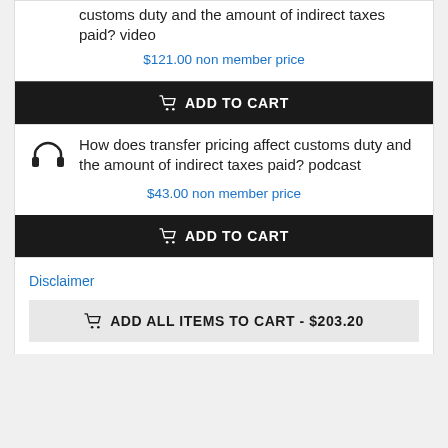customs duty and the amount of indirect taxes paid? video
$121.00 non member price
ADD TO CART
How does transfer pricing affect customs duty and the amount of indirect taxes paid? podcast
$43.00 non member price
ADD TO CART
Disclaimer
ADD ALL ITEMS TO CART - $203.20